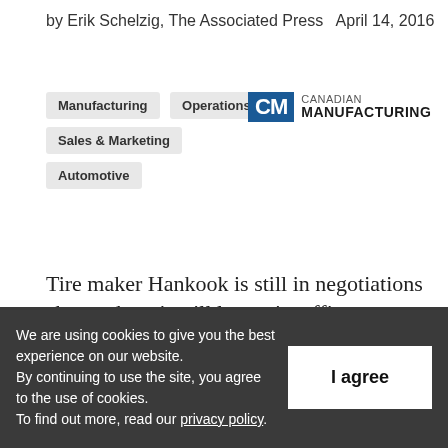by Erik Schelzig, The Associated Press  April 14, 2016
Manufacturing
Operations
Sales & Marketing
Automotive
[Figure (logo): Canadian Manufacturing logo with CM icon in blue square and text 'CANADIAN MANUFACTURING']
Tire maker Hankook is still in negotiations about where it will locate its offices; no
We are using cookies to give you the best experience on our website.
By continuing to use the site, you agree to the use of cookies.
To find out more, read our privacy policy.